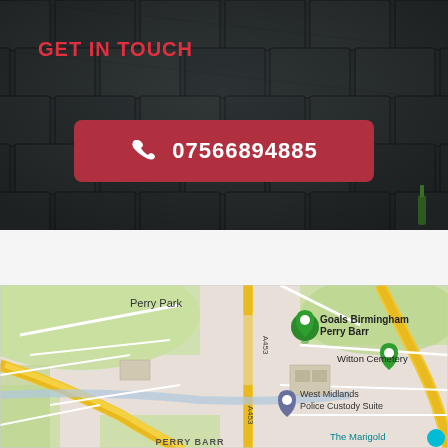[Figure (photo): Dark grey slate roof tiles viewed from above at an angle, filling the top half of the image]
GET IN TOUCH
07566894885
[Figure (map): Google Maps screenshot showing Perry Barr area of Birmingham, UK, with markers for Goals Birmingham Perry Barr, Witton Cemetery, West Midlands Police Custody Suite, and The Marigold. Road A453 is visible along with Perry Park label and PERRY BARR label at bottom.]